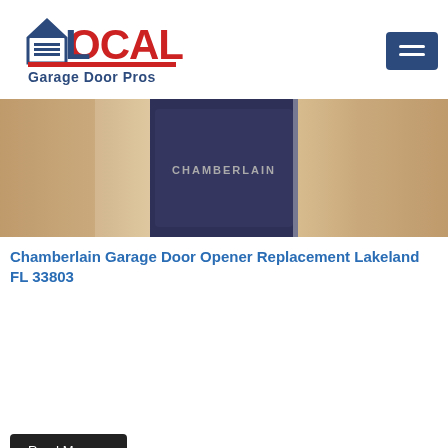Local Garage Door Pros
[Figure (logo): Local Garage Door Pros logo with house icon, horizontal lines, and red/navy text]
[Figure (photo): Close-up photo of a Chamberlain garage door opener unit, dark blue color with CHAMBERLAIN text on front, flanked by textured beige/tan walls on either side]
Chamberlain Garage Door Opener Replacement Lakeland FL 33803
Read More →